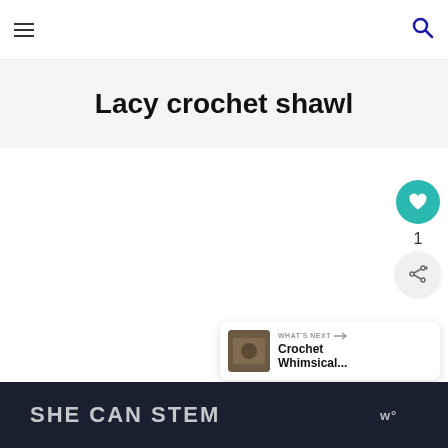☰  [search icon]
Lacy crochet shawl
[Figure (other): Like/favorite button (teal circle with heart icon) with count of 1, and a share button (light circle with share icon)]
[Figure (other): What's Next card with thumbnail image of crochet item and text 'WHAT'S NEXT → Crochet Whimsical...']
SHE CAN STEM  [Walmart logo]